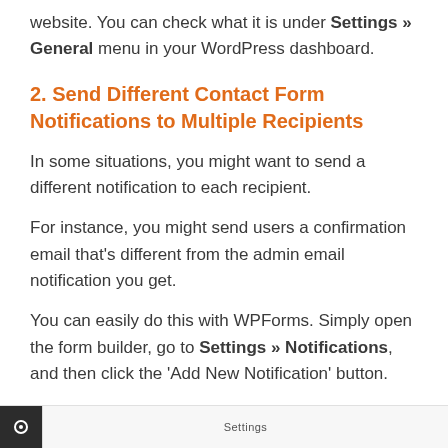website. You can check what it is under Settings » General menu in your WordPress dashboard.
2. Send Different Contact Form Notifications to Multiple Recipients
In some situations, you might want to send a different notification to each recipient.
For instance, you might send users a confirmation email that's different from the admin email notification you get.
You can easily do this with WPForms. Simply open the form builder, go to Settings » Notifications, and then click the 'Add New Notification' button.
[Figure (screenshot): Partial screenshot of WPForms Settings panel with a settings bar visible at the bottom of the page]